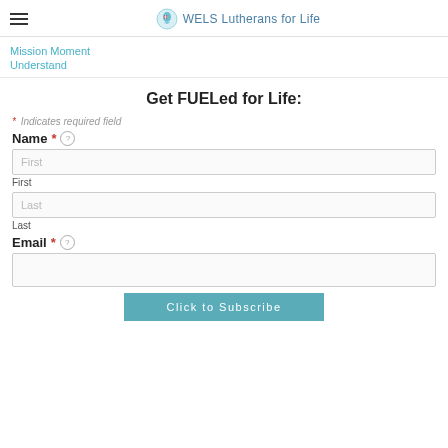WELS Lutherans for Life
Mission Moment
Understand
Get FUELed for Life:
* Indicates required field
Name * (?)
First (input field)
First
Last (input field)
Last
Email * (?)
Email input field
Click to Subscribe